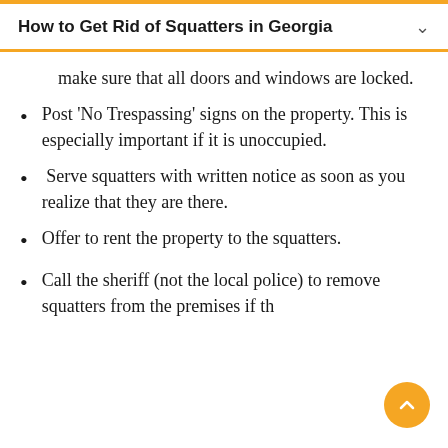How to Get Rid of Squatters in Georgia
make sure that all doors and windows are locked.
Post 'No Trespassing' signs on the property. This is especially important if it is unoccupied.
Serve squatters with written notice as soon as you realize that they are there.
Offer to rent the property to the squatters.
Call the sheriff (not the local police) to remove squatters from the premises if they